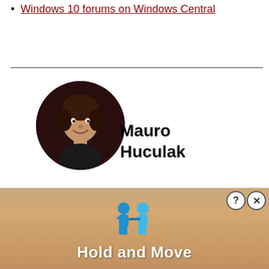Windows 10 forums on Windows Central
[Figure (photo): Circular avatar photo of Mauro Huculak, a man smiling, with dark background]
Mauro Huculak
Mauro Huculak is technical writer for WindowsCentral.com. His primary focus is to write comprehensive how-tos to help users get the most out of Windows 10 and its many related technologies. He has an IT background with
[Figure (screenshot): Advertisement banner: Hold and Move game ad with blue cartoon figures on a wooden board background, with close (X) and help (?) buttons]